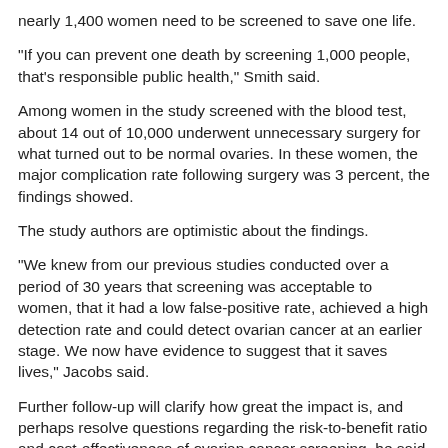nearly 1,400 women need to be screened to save one life.
"If you can prevent one death by screening 1,000 people, that's responsible public health," Smith said.
Among women in the study screened with the blood test, about 14 out of 10,000 underwent unnecessary surgery for what turned out to be normal ovaries. In these women, the major complication rate following surgery was 3 percent, the findings showed.
The study authors are optimistic about the findings.
"We knew from our previous studies conducted over a period of 30 years that screening was acceptable to women, that it had a low false-positive rate, achieved a high detection rate and could detect ovarian cancer at an earlier stage. We now have evidence to suggest that it saves lives," Jacobs said.
Further follow-up will clarify how great the impact is, and perhaps resolve questions regarding the risk-to-benefit ratio and cost-effectiveness of ovarian cancer screening, he said.
"When all of this information is available, decisions about implementing a national screening service can be made," Jacobs said. "In the meantime, women who are considering whether or not to undergo ovarian cancer screening and the health professionals who advise them will have more